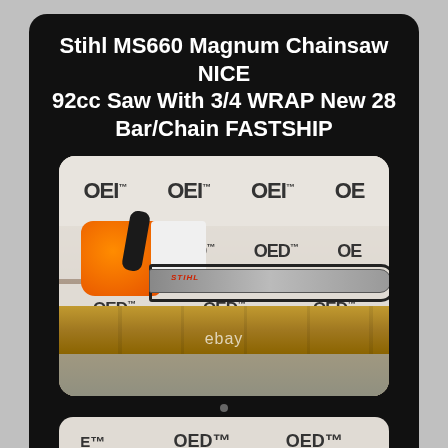Stihl MS660 Magnum Chainsaw NICE 92cc Saw With 3/4 WRAP New 28 Bar/Chain FASTSHIP
[Figure (photo): Stihl MS660 Magnum chainsaw with orange engine housing, black handle, and long guide bar with chain, displayed against OED (Outdoor Equipment Direct LLC) branded white background, resting on a wooden surface. An eBay watermark is visible at the bottom of the image.]
[Figure (photo): Partial bottom image showing OED (Outdoor Equipment Direct LLC) branded background with chainsaw partially visible, cropped at bottom of page.]